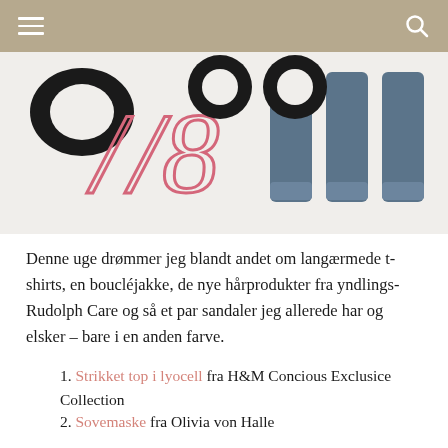≡  🔍
[Figure (photo): Partial decorative typography showing '78' in pink script and fragments of dark letters, alongside a blue denim garment shape — cropped magazine-style image strip.]
Denne uge drømmer jeg blandt andet om langærmede t-shirts, en boucléjakke, de nye hårprodukter fra yndlings-Rudolph Care og så et par sandaler jeg allerede har og elsker – bare i en anden farve.
1. Strikket top i lyocell fra H&M Concious Exclusice Collection
2. Sovemaske fra Olivia von Halle hos My Léontine
3. Mørkegrå jeans fra Anine Bing